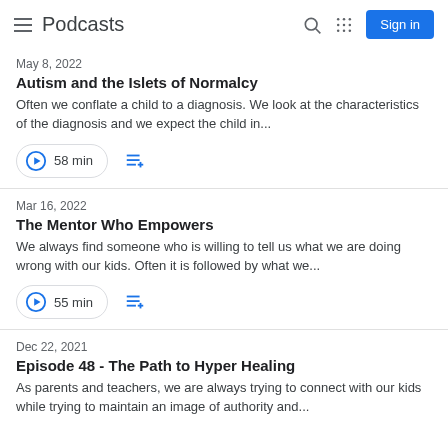Podcasts
May 8, 2022
Autism and the Islets of Normalcy
Often we conflate a child to a diagnosis. We look at the characteristics of the diagnosis and we expect the child in...
58 min
Mar 16, 2022
The Mentor Who Empowers
We always find someone who is willing to tell us what we are doing wrong with our kids. Often it is followed by what we...
55 min
Dec 22, 2021
Episode 48 - The Path to Hyper Healing
As parents and teachers, we are always trying to connect with our kids while trying to maintain an image of authority and...